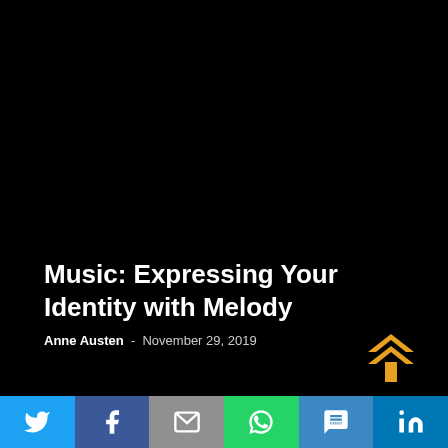[Figure (photo): Dark/black background image covering most of the page]
Music: Expressing Your Identity with Melody
Anne Austen - November 29, 2019
[Figure (other): Orange double up-arrow button in bottom right area]
[Figure (infographic): Social sharing bar with Twitter, Facebook, Email, WhatsApp, SMS, LinkedIn buttons]